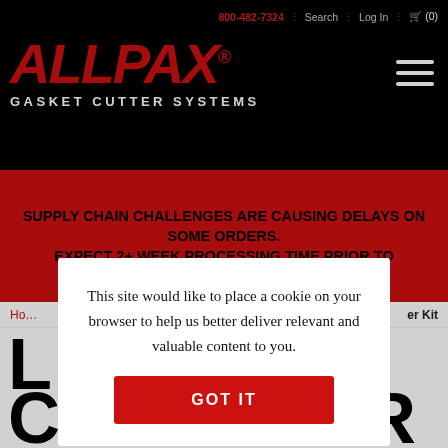800-482-7324 | Search | Log In | (0)
[Figure (logo): ALLPAX Gasket Cutter Systems logo in red italic text on black background]
SUPPLY CHAIN CHALLENGES ARE CAUSING DELAYS ON SOME ORDERS. EXPECT 2+ WEEK PROCESSING TIME PRIOR TO
Ho... er Kit
L... C... R KIT - 0 TO 13"
This site would like to place a cookie on your browser to help us better deliver relevant and valuable content to you.
GOT IT